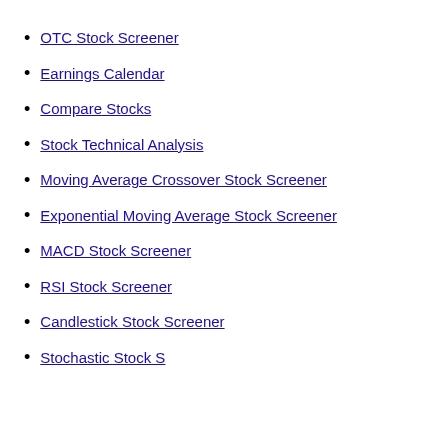OTC Stock Screener
Earnings Calendar
Compare Stocks
Stock Technical Analysis
Moving Average Crossover Stock Screener
Exponential Moving Average Stock Screener
MACD Stock Screener
RSI Stock Screener
Candlestick Stock Screener
Stochastic Stock Screener